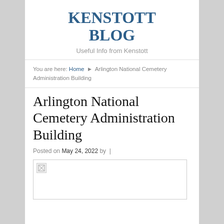KENSTOTT BLOG
Useful Info from Kenstott
You are here: Home ▶ Arlington National Cemetery Administration Building
Arlington National Cemetery Administration Building
Posted on May 24, 2022 by |
[Figure (photo): Broken/missing image placeholder for Arlington National Cemetery Administration Building]